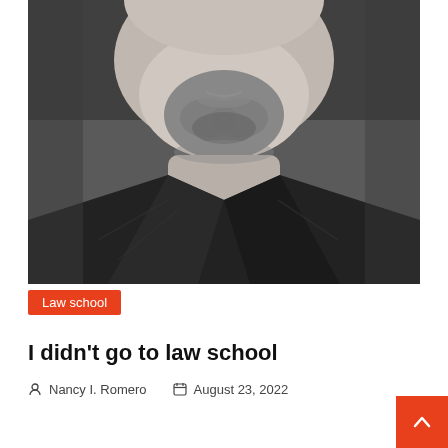[Figure (photo): Black and white close-up photograph of a man's face from nose down, showing a goatee/beard, neck, and shoulders wearing a dark collared shirt.]
Law school
I didn't go to law school
Nancy I. Romero  August 23, 2022